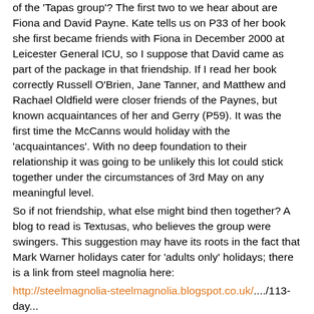of the 'Tapas group'? The first two to we hear about are Fiona and David Payne. Kate tells us on P33 of her book she first became friends with Fiona in December 2000 at Leicester General ICU, so I suppose that David came as part of the package in that friendship. If I read her book correctly Russell O'Brien, Jane Tanner, and Matthew and Rachael Oldfield were closer friends of the Paynes, but known acquaintances of her and Gerry (P59). It was the first time the McCanns would holiday with the 'acquaintances'. With no deep foundation to their relationship it was going to be unlikely this lot could stick together under the circumstances of 3rd May on any meaningful level.
So if not friendship, what else might bind then together? A blog to read is Textusas, who believes the group were swingers. This suggestion may have its roots in the fact that Mark Warner holidays cater for 'adults only' holidays; there is a link from steel magnolia here:
http://steelmagnolia-steelmagnolia.blogspot.co.uk/..../113-day...
Also from the Jane Tanner rogatory appears this bolt from the blue...